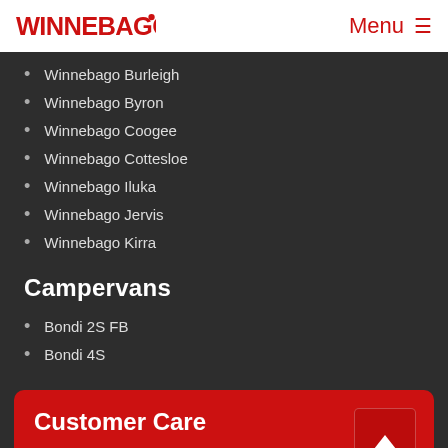Winnebago | Menu
Winnebago Burleigh
Winnebago Byron
Winnebago Coogee
Winnebago Cottesloe
Winnebago Iluka
Winnebago Jervis
Winnebago Kirra
Campervans
Bondi 2S FB
Bondi 4S
Customer Care
Aftersales
Apollo Warranty
Parts & Accessories